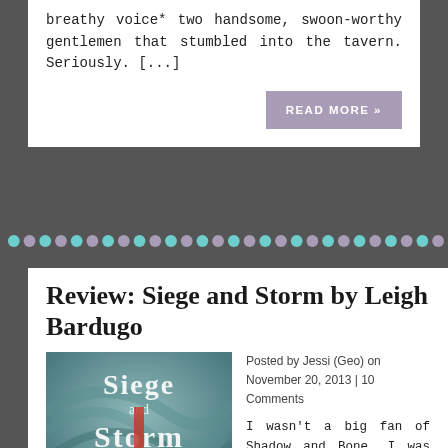breathy voice* two handsome, swoon-worthy gentlemen that stumbled into the tavern. Seriously. [...]
READ MORE »
[Figure (illustration): A decorative row of alternating teal and purple dots as a divider]
Review: Siege and Storm by Leigh Bardugo
[Figure (photo): Book cover of Siege and Storm by Leigh Bardugo showing ornate gothic lettering in white and red on a dark teal background]
Posted by Jessi (Geo) on November 20, 2013 | 10 Comments
I wasn't a big fan of Shadow and Bone. I was the black sheep on